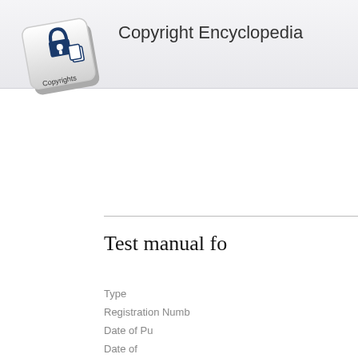[Figure (logo): Copyright Encyclopedia logo: a keyboard key with a padlock and document icon, labeled 'Copyrights']
Copyright Encyclopedia
Test manual fo
Type
Registration Numb
Date of Pu
Date of